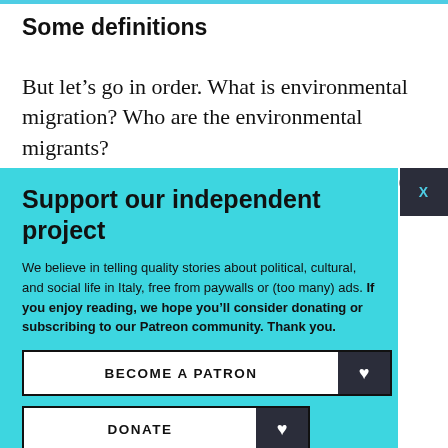Some definitions
But let’s go in order. What is environmental migration? Who are the environmental migrants?
Support our independent project
We believe in telling quality stories about political, cultural, and social life in Italy, free from paywalls or (too many) ads. If you enjoy reading, we hope you’ll consider donating or subscribing to our Patreon community. Thank you.
BECOME A PATRON
DONATE
Follow us: Facebook Instagram Twitter